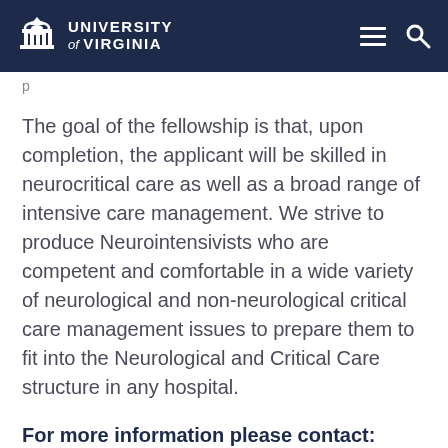University of Virginia
The goal of the fellowship is that, upon completion, the applicant will be skilled in neurocritical care as well as a broad range of intensive care management. We strive to produce Neurointensivists who are competent and comfortable in a wide variety of neurological and non-neurological critical care management issues to prepare them to fit into the Neurological and Critical Care structure in any hospital.
For more information please contact:
Bart Nathan, MD, FNCS, Professor of Neurology